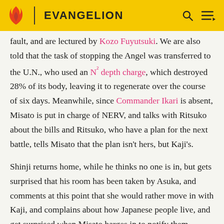EVANGELION
fault, and are lectured by Kozo Fuyutsuki. We are also told that the task of stopping the Angel was transferred to the U.N., who used an N² depth charge, which destroyed 28% of its body, leaving it to regenerate over the course of six days. Meanwhile, since Commander Ikari is absent, Misato is put in charge of NERV, and talks with Ritsuko about the bills and Ritsuko, who have a plan for the next battle, tells Misato that the plan isn't hers, but Kaji's.
Shinji returns home, while he thinks no one is in, but gets surprised that his room has been taken by Asuka, and comments at this point that she would rather move in with Kaji, and complains about how Japanese people live, and get surprised when Misato barges in to notify them